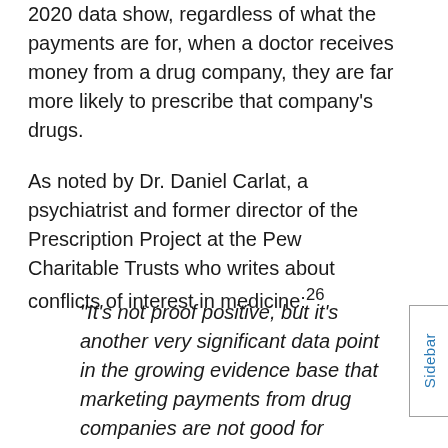2020 data show, regardless of what the payments are for, when a doctor receives money from a drug company, they are far more likely to prescribe that company's drugs.
As noted by Dr. Daniel Carlat, a psychiatrist and former director of the Prescription Project at the Pew Charitable Trusts who writes about conflicts of interest in medicine:26
“It’s not proof positive, but it’s another very significant data point in the growing evidence base that marketing payments from drug companies are not good for medicine and not good for patient care.